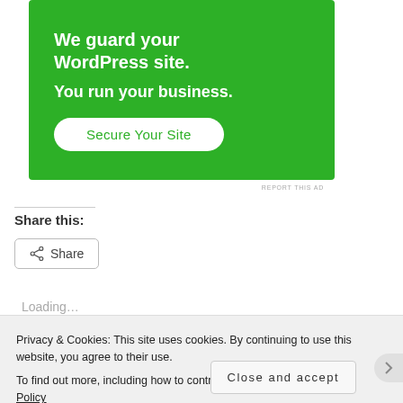[Figure (other): Green advertisement banner for a WordPress security service. Text reads 'We guard your WordPress site. You run your business.' with a 'Secure Your Site' button.]
REPORT THIS AD
Share this:
Loading…
Privacy & Cookies: This site uses cookies. By continuing to use this website, you agree to their use.
To find out more, including how to control cookies, see here: Cookie Policy
Close and accept